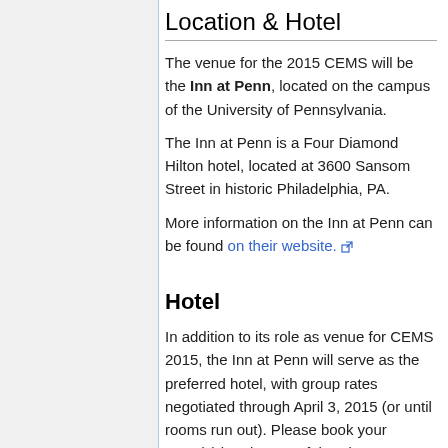Location & Hotel
The venue for the 2015 CEMS will be the Inn at Penn, located on the campus of the University of Pennsylvania.
The Inn at Penn is a Four Diamond Hilton hotel, located at 3600 Sansom Street in historic Philadelphia, PA.
More information on the Inn at Penn can be found on their website.
Hotel
In addition to its role as venue for CEMS 2015, the Inn at Penn will serve as the preferred hotel, with group rates negotiated through April 3, 2015 (or until rooms run out). Please book your room(s) in advance of that date to